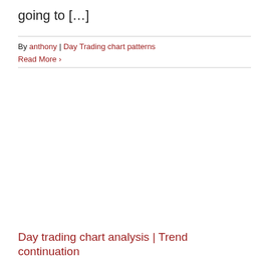going to […]
By anthony | Day Trading chart patterns
Read More ›
Day trading chart analysis | Trend continuation